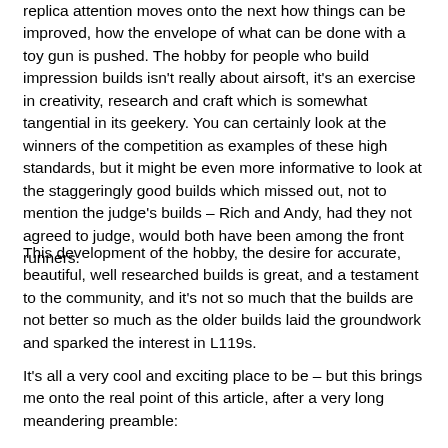replica attention moves onto the next how things can be improved, how the envelope of what can be done with a toy gun is pushed. The hobby for people who build impression builds isn't really about airsoft, it's an exercise in creativity, research and craft which is somewhat tangential in its geekery. You can certainly look at the winners of the competition as examples of these high standards, but it might be even more informative to look at the staggeringly good builds which missed out, not to mention the judge's builds – Rich and Andy, had they not agreed to judge, would both have been among the front runners.
This development of the hobby, the desire for accurate, beautiful, well researched builds is great, and a testament to the community, and it's not so much that the builds are not better so much as the older builds laid the groundwork and sparked the interest in L119s.
It's all a very cool and exciting place to be – but this brings me onto the real point of this article, after a very long meandering preamble: